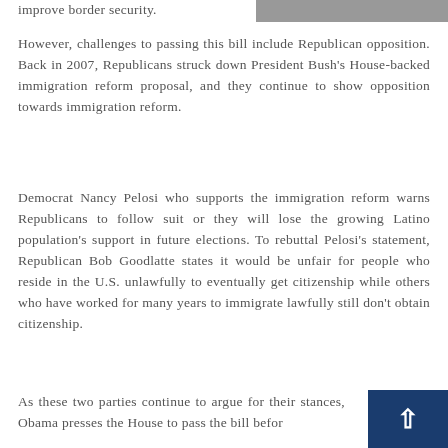improve border security.
[Figure (photo): Partial photo visible at top right of page, appears to show people]
However, challenges to passing this bill include Republican opposition. Back in 2007, Republicans struck down President Bush's House-backed immigration reform proposal, and they continue to show opposition towards immigration reform.
Democrat Nancy Pelosi who supports the immigration reform warns Republicans to follow suit or they will lose the growing Latino population's support in future elections. To rebuttal Pelosi's statement, Republican Bob Goodlatte states it would be unfair for people who reside in the U.S. unlawfully to eventually get citizenship while others who have worked for many years to immigrate lawfully still don't obtain citizenship.
As these two parties continue to argue for their stances, Obama presses the House to pass the bill befor